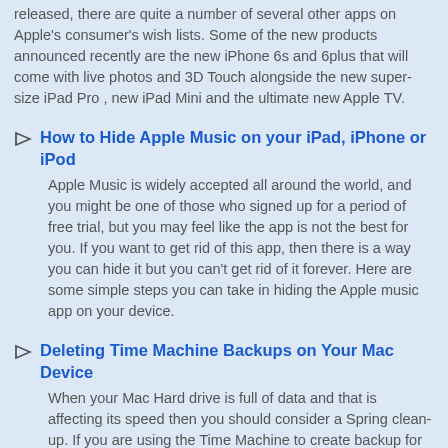released, there are quite a number of several other apps on Apple's consumer's wish lists. Some of the new products announced recently are the new iPhone 6s and 6plus that will come with live photos and 3D Touch alongside the new super-size iPad Pro , new iPad Mini and the ultimate new Apple TV.
How to Hide Apple Music on your iPad, iPhone or iPod
Apple Music is widely accepted all around the world, and you might be one of those who signed up for a period of free trial, but you may feel like the app is not the best for you. If you want to get rid of this app, then there is a way you can hide it but you can't get rid of it forever. Here are some simple steps you can take in hiding the Apple music app on your device.
Deleting Time Machine Backups on Your Mac Device
When your Mac Hard drive is full of data and that is affecting its speed then you should consider a Spring clean-up. If you are using the Time Machine to create backup for your device, then you may probably delete junk files manually, however you can get some inspiration by using some simple backup deleting steps in order to create more space on the device.In some cases, your Time Machine may send an error notification that the Backup could not completed by the Time machine", or backup disk cannot contain the large size of the backup, or "an AA GB is required but it is not available". The reason for these error messages could be any of the factors highlighted below however one thing remains: the junk old files can be removed from